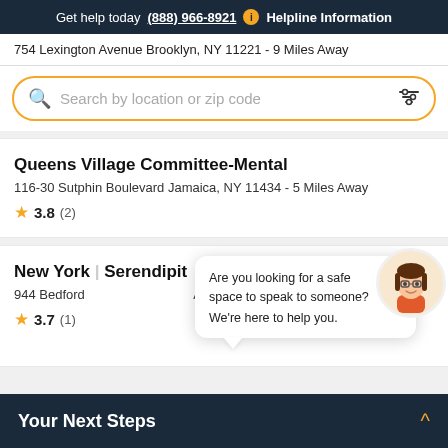Get help today (888) 966-8921  i  Helpline Information
754 Lexington Avenue Brooklyn, NY 11221 - 9 Miles Away
Search by location or zip code
Queens Village Committee-Mental
116-30 Sutphin Boulevard Jamaica, NY 11434 - 5 Miles Away
★ 3.8 (2)
New York... Serendipit...
944 Bedford... Away
★ 3.7 (1)
Are you looking for a safe space to speak to someone?
We're here to help you.
Your Next Steps